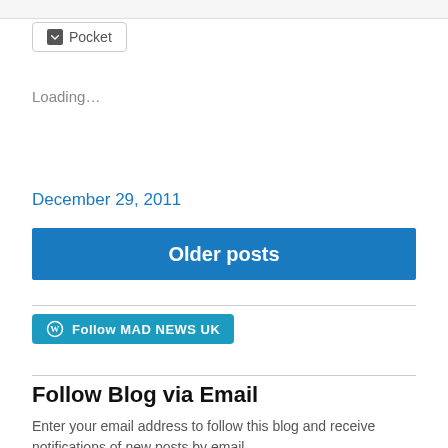[Figure (screenshot): Partial top row of social sharing buttons, cropped at top]
Pocket (button)
Loading...
December 29, 2011
Older posts
[Figure (logo): WordPress Follow button: Follow MAD NEWS UK]
Follow Blog via Email
Enter your email address to follow this blog and receive notifications of new posts by email.